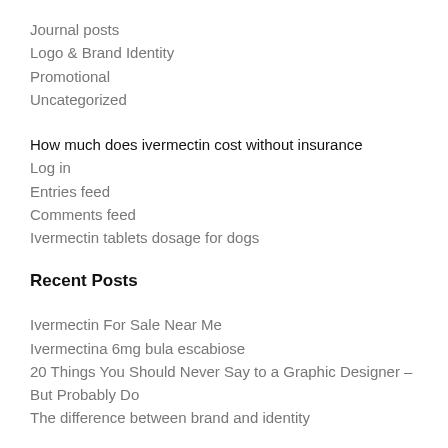Journal posts
Logo & Brand Identity
Promotional
Uncategorized
How much does ivermectin cost without insurance
Log in
Entries feed
Comments feed
Ivermectin tablets dosage for dogs
Recent Posts
Ivermectin For Sale Near Me
Ivermectina 6mg bula escabiose
20 Things You Should Never Say to a Graphic Designer – But Probably Do
The difference between brand and identity